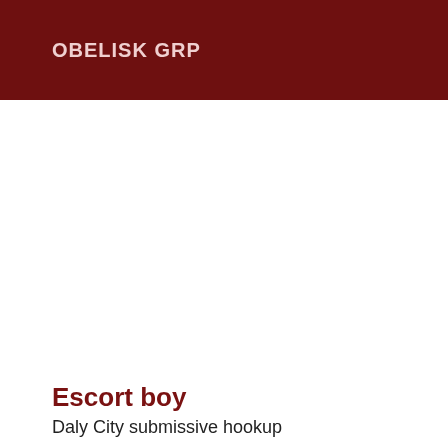OBELISK GRP
Escort boy
Daly City submissive hookup